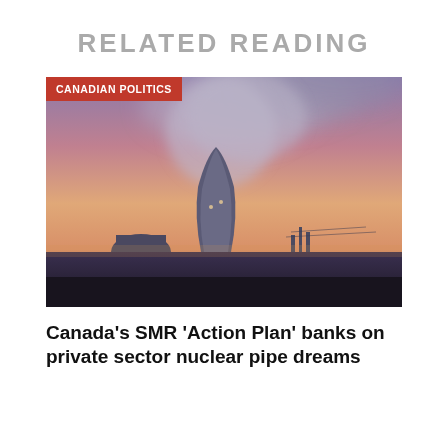RELATED READING
[Figure (photo): Nuclear power plant cooling tower with large plume of steam against a dramatic sunset sky with purple and orange hues, silhouetted industrial structures in background]
CANADIAN POLITICS
Canada’s SMR ‘Action Plan’ banks on private sector nuclear pipe dreams